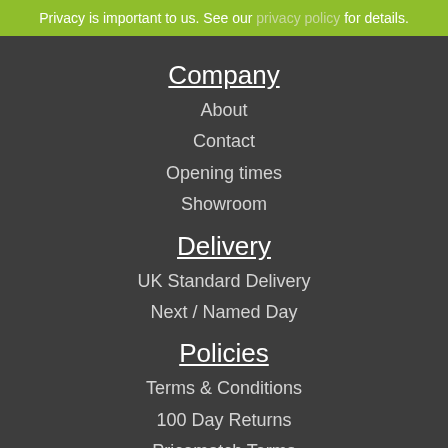Privacy is important to us. See our privacy policy for details.
Company
About
Contact
Opening times
Showroom
Delivery
UK Standard Delivery
Next / Named Day
Policies
Terms & Conditions
100 Day Returns
Pricematch Terms
Cookie Policy